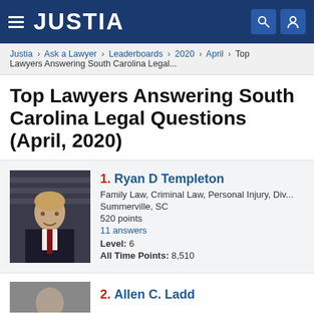JUSTIA
Justia › Ask a Lawyer › Leaderboards › 2020 › April › Top Lawyers Answering South Carolina Legal...
Top Lawyers Answering South Carolina Legal Questions (April, 2020)
1. Ryan D Templeton
Family Law, Criminal Law, Personal Injury, Div...
Summerville, SC
520 points
11 answers
Level: 6
All Time Points: 8,510
2. Allen C. Ladd